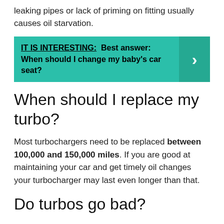leaking pipes or lack of priming on fitting usually causes oil starvation.
[Figure (infographic): Teal banner with text: IT IS INTERESTING: Best answer: When should I change my baby's car seat? with a right arrow button on the right side.]
When should I replace my turbo?
Most turbochargers need to be replaced between 100,000 and 150,000 miles. If you are good at maintaining your car and get timely oil changes your turbocharger may last even longer than that.
Do turbos go bad?